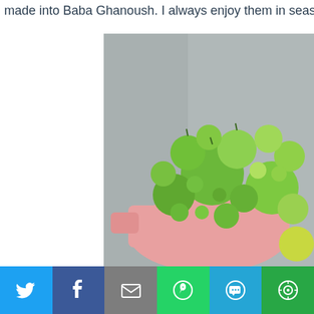made into Baba Ghanoush. I always enjoy them in season and th
[Figure (photo): A pink colander filled with many green unripe tomatoes of various sizes, photographed in a kitchen sink with a stainless steel background.]
•
Privacy & Cookies: This site uses cookies. By continuing to use this website, you agree to their use. To find out more, including how to control cookies, see here: Cookie Policy
Share buttons: Twitter, Facebook, Email, WhatsApp, SMS, More